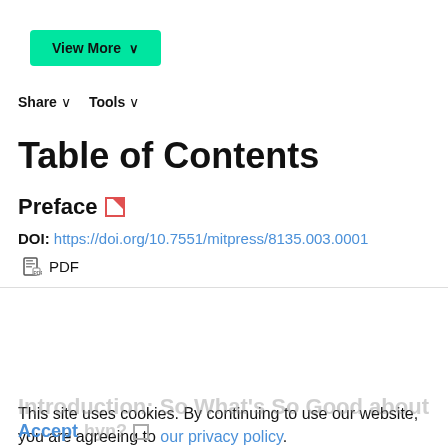[Figure (other): Green 'View More' button with chevron down arrow]
Share ∨   Tools ∨
Table of Contents
Preface
DOI: https://doi.org/10.7551/mitpress/8135.003.0001
PDF
This site uses cookies. By continuing to use our website, you are agreeing to our privacy policy.
Accept